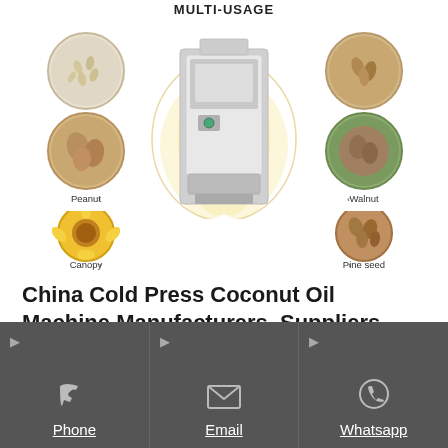[Figure (infographic): Multi-usage infographic for an oil press machine. Center shows a stainless steel cold press oil machine. Left side shows three circular images: Sesame (top), Peanut (middle), Canopy/sunflower (bottom). Right side shows three circular images: Almond (top), Walnut (middle), Pine seed (bottom). A golden oil splash flows from the machine. Title at top reads MULTI-USAGE.]
China Cold Press Coconut Oil Machine Manufacturers, Suppliers
Palm Kernel Coconut Oil Processing Mill Making Extraction
Phone   Email   Whatsapp